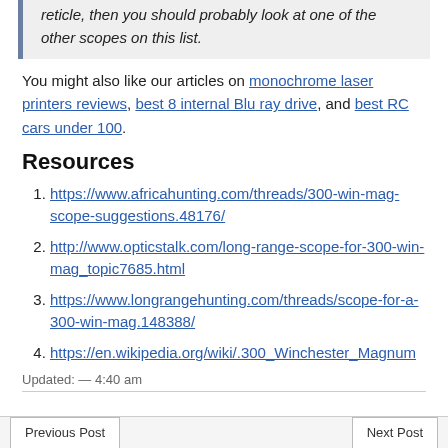reticle, then you should probably look at one of the other scopes on this list.
You might also like our articles on monochrome laser printers reviews, best 8 internal Blu ray drive, and best RC cars under 100.
Resources
https://www.africahunting.com/threads/300-win-mag-scope-suggestions.48176/
http://www.opticstalk.com/long-range-scope-for-300-win-mag_topic7685.html
https://www.longrangehunting.com/threads/scope-for-a-300-win-mag.148388/
https://en.wikipedia.org/wiki/.300_Winchester_Magnum
Updated: — 4:40 am
Previous Post   Next Post